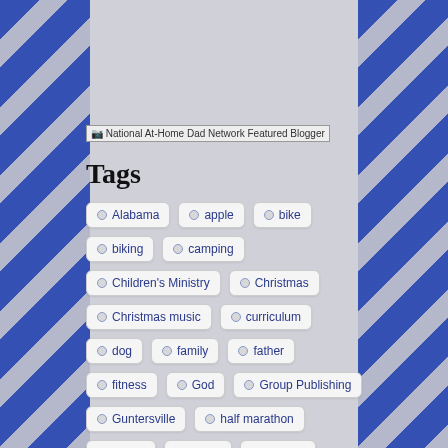[Figure (other): Broken image placeholder for National At-Home Dad Network Featured Blogger badge]
Tags
Alabama
apple
bike
biking
camping
Children's Ministry
Christmas
Christmas music
curriculum
dog
family
father
fitness
God
Group Publishing
Guntersville
half marathon
health
hiking
Indiana
Jesus
Jesus Storybook Bible